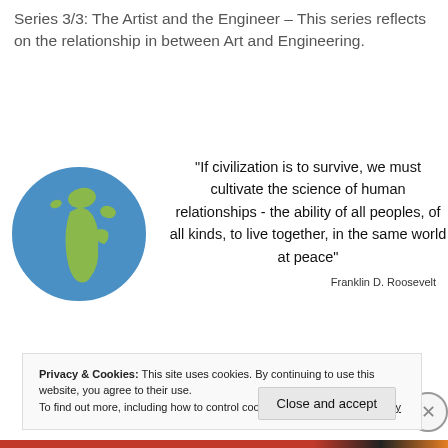Series 3/3: The Artist and the Engineer – This series reflects on the relationship in between Art and Engineering.
[Figure (illustration): Globe illustration showing Earth with blue oceans and green continents, focusing on Africa and Europe.]
“If civilization is to survive, we must cultivate the science of human relationships - the ability of all peoples, of all kinds, to live together, in the same world at peace”
Franklin D. Roosevelt
Privacy & Cookies: This site uses cookies. By continuing to use this website, you agree to their use.
To find out more, including how to control cookies, see here: Cookie Policy
Close and accept